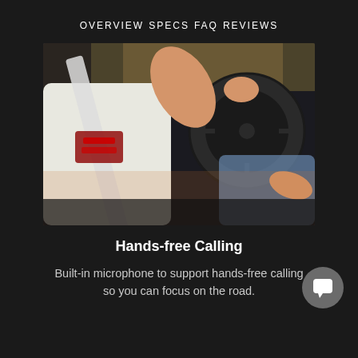OVERVIEW  SPECS  FAQ  REVIEWS
[Figure (photo): A person wearing a white t-shirt sitting in the driver seat of a car, reaching up to grip the steering wheel, with a seatbelt across the chest. Another person is partially visible in the passenger seat.]
Hands-free Calling
Built-in microphone to support hands-free calling so you can focus on the road.